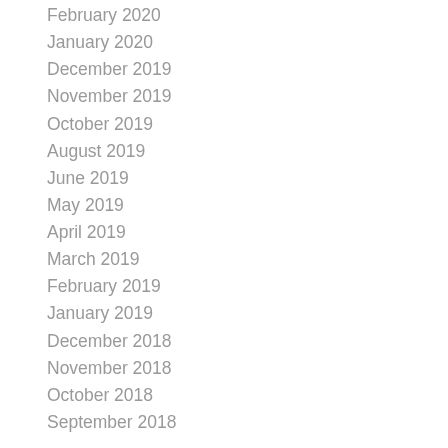February 2020
January 2020
December 2019
November 2019
October 2019
August 2019
June 2019
May 2019
April 2019
March 2019
February 2019
January 2019
December 2018
November 2018
October 2018
September 2018